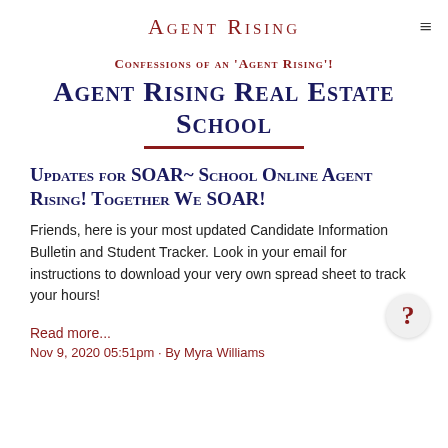Agent Rising
Confessions of an 'Agent Rising'!
Agent Rising Real Estate School
Updates for SOAR~ School Online Agent Rising! Together We SOAR!
Friends, here is your most updated Candidate Information Bulletin and Student Tracker. Look in your email for instructions to download your very own spread sheet to track your hours!
Read more...
Nov 9, 2020 05:51pm · By Myra Williams